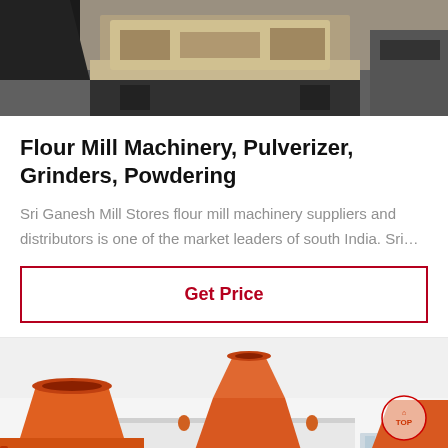[Figure (photo): Industrial grinding/milling machine equipment photo, showing machinery parts in grey and black tones]
Flour Mill Machinery, Pulverizer, Grinders, Powdering
Sri Ganesh Mill Stores flour mill machinery suppliers and distributors is one of the market leaders of south India. Sri…
Get Price
[Figure (photo): Multiple large orange industrial flour mill / pulverizer machines lined up outdoors with white building in background]